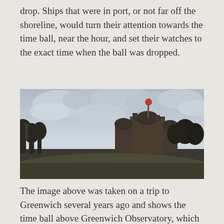drop. Ships that were in port, or not far off the shoreline, would turn their attention towards the time ball, near the hour, and set their watches to the exact time when the ball was dropped.
[Figure (photo): Photograph of Greenwich Observatory skyline taken from ground level, showing the observatory buildings with domed roofs and a red time ball visible at the top of the main building, set against a cloudy sky with trees in the foreground.]
The image above was taken on a trip to Greenwich several years ago and shows the time ball above Greenwich Observatory, which still drops everyday at 1:00PM. For more on the critical importance of accurate timekeepers and time balls in the saving of